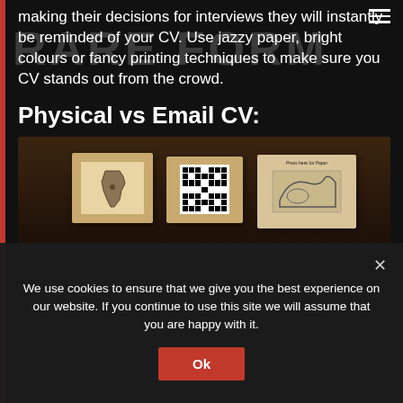making their decisions for interviews they will instantly be reminded of your CV. Use jazzy paper, bright colours or fancy printing techniques to make sure you CV stands out from the crowd.
Physical vs Email CV:
[Figure (photo): Photo of a physical CV package/box with QR code and printed materials on a wooden surface]
We use cookies to ensure that we give you the best experience on our website. If you continue to use this site we will assume that you are happy with it.